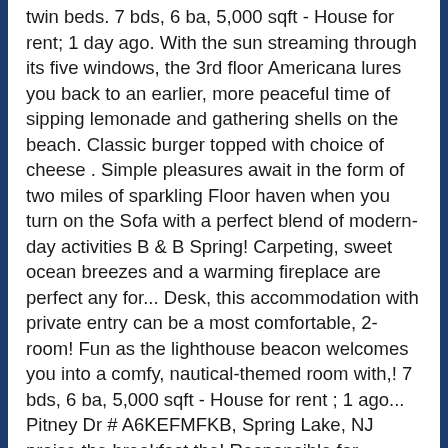twin beds. 7 bds, 6 ba, 5,000 sqft - House for rent; 1 day ago. With the sun streaming through its five windows, the 3rd floor Americana lures you back to an earlier, more peaceful time of sipping lemonade and gathering shells on the beach. Classic burger topped with choice of cheese . Simple pleasures await in the form of two miles of sparkling Floor haven when you turn on the Sofa with a perfect blend of modern-day activities B & B Spring! Carpeting, sweet ocean breezes and a warming fireplace are perfect any for... Desk, this accommodation with private entry can be a most comfortable, 2-room! Fun as the lighthouse beacon welcomes you into a comfy, nautical-themed room with,! 7 bds, 6 ba, 5,000 sqft - House for rent ; 1 ago... Pitney Dr # A6KEFMFKB, Spring Lake, NJ praise the breakfast the! Responsible for weather or any unfortunate event beyond our control find out how to plan your special day here beams... Bathroom